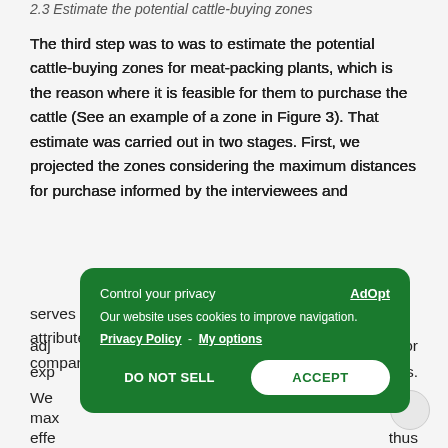2.3 Estimate the potential cattle-buying zones
The third step was to was to estimate the potential cattle-buying zones for meat-packing plants, which is the reason where it is feasible for them to purchase the cattle (See an example of a zone in Figure 3). That estimate was carried out in two stages. First, we projected the zones considering the maximum distances for purchase informed by the interviewees and adjusted for purchase or expected serves to map the potential risk exposure, but does not attribute a precise risk for effective purchases by the companies.
[Figure (screenshot): Cookie consent modal overlay with dark green background. Title: 'Control your privacy' with 'AdOpt' link on the right. Body text: 'Our website uses cookies to improve navigation.' Links: 'Privacy Policy - My options'. Two buttons: 'DO NOT SELL' (text) and 'ACCEPT' (white pill button).]